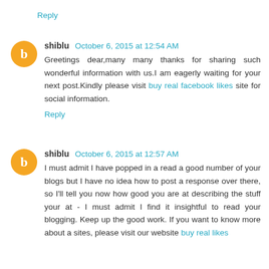Reply
shiblu October 6, 2015 at 12:54 AM
Greetings dear,many many thanks for sharing such wonderful information with us.I am eagerly waiting for your next post.Kindly please visit buy real facebook likes site for social information.
Reply
shiblu October 6, 2015 at 12:57 AM
I must admit I have popped in a read a good number of your blogs but I have no idea how to post a response over there, so I'll tell you now how good you are at describing the stuff your at - I must admit I find it insightful to read your blogging. Keep up the good work. If you want to know more about a sites, please visit our website buy real likes